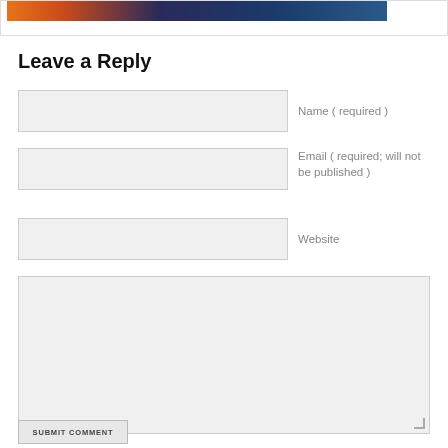[Figure (illustration): Partial view of a colorful illustration or banner image with orange and dark blue/teal tones, cropped at the top of the page inside a bordered container]
Leave a Reply
Name ( required )
Email ( required; will not be published )
Website
SUBMIT COMMENT